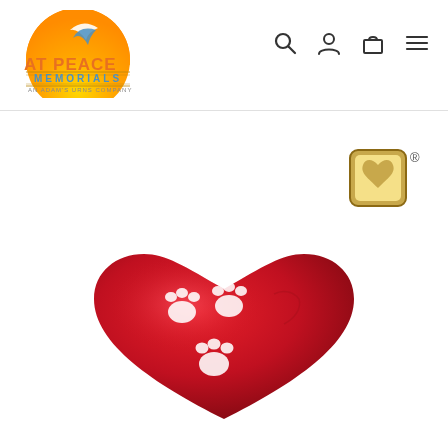[Figure (logo): At Peace Memorials logo - sun/bird icon with orange and blue colors, text 'AT PEACE MEMORIALS AN ADAM'S URNS COMPANY']
[Figure (logo): Navigation bar icons: search magnifying glass, person/account icon, shopping bag/cart icon, hamburger menu icon]
[Figure (logo): Small gold heart-in-square registered trademark badge logo]
[Figure (photo): Red heart-shaped cremation urn with white paw print designs on the surface, glossy finish, shown from slightly above angle]